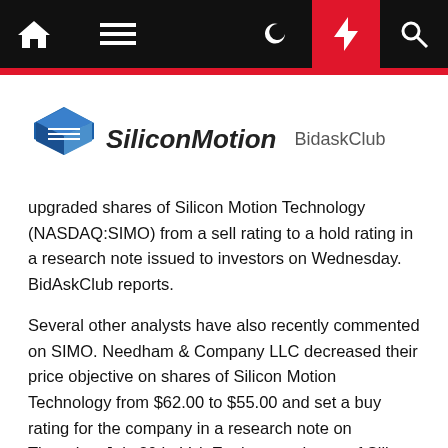SiliconMotion BidaskClub
upgraded shares of Silicon Motion Technology (NASDAQ:SIMO) from a sell rating to a hold rating in a research note issued to investors on Wednesday. BidAskClub reports.
Several other analysts have also recently commented on SIMO. Needham & Company LLC decreased their price objective on shares of Silicon Motion Technology from $62.00 to $55.00 and set a buy rating for the company in a research note on Thursday, July 30th. ValuEngine cut shares of Silicon Motion Technology from a hold rating to a sell rating